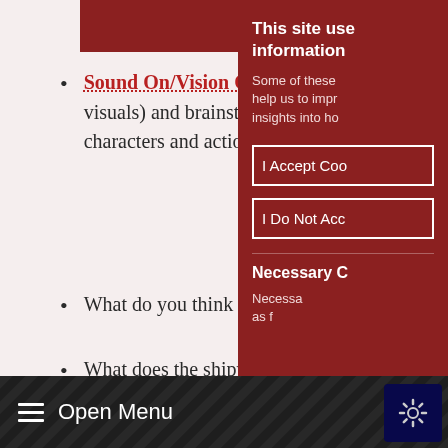Clip Details
Sound On/Vision Off. Listen to the audio only of the first 12 seconds of the film (no visuals) and brainstorm ideas/vocabulary in English or French about possible settings, characters and actions (verbs) that might show up in the film.
What do you think the film will be about from the title?
What does the shipwreck prove?
Carry out a full 'Tell Me' Grid An...
This site uses information
Some of these help us to improve insights into ho
I Accept Coo
I Do Not Acc
Necessary C
Necessa as f
Open Menu